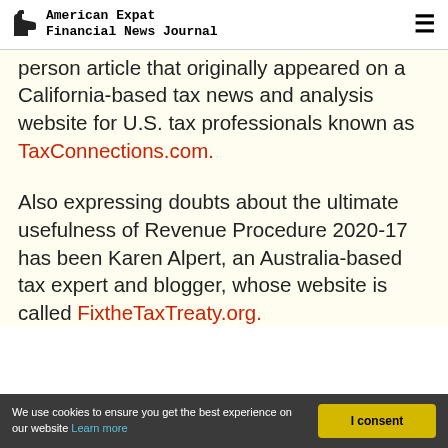American Expat Financial News Journal
person article that originally appeared on a California-based tax news and analysis website for U.S. tax professionals known as TaxConnections.com.
Also expressing doubts about the ultimate usefulness of Revenue Procedure 2020-17 has been Karen Alpert, an Australia-based tax expert and blogger, whose website is called FixtheTaxTreaty.org.
We use cookies to ensure you get the best experience on our website Learn more